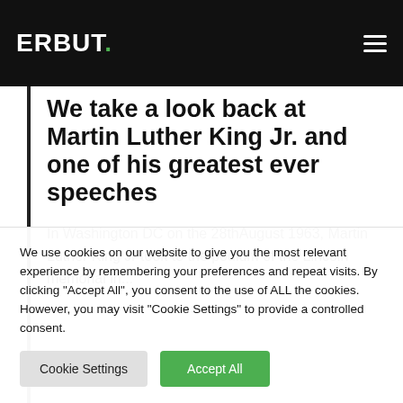ERBUT.
We take a look back at Martin Luther King Jr. and one of his greatest ever speeches
In Washington DC on the 28thAugust 1963, Martin Luther King Jr took to the podium of the Lincoln memorial in...
We use cookies on our website to give you the most relevant experience by remembering your preferences and repeat visits. By clicking “Accept All”, you consent to the use of ALL the cookies. However, you may visit “Cookie Settings” to provide a controlled consent.